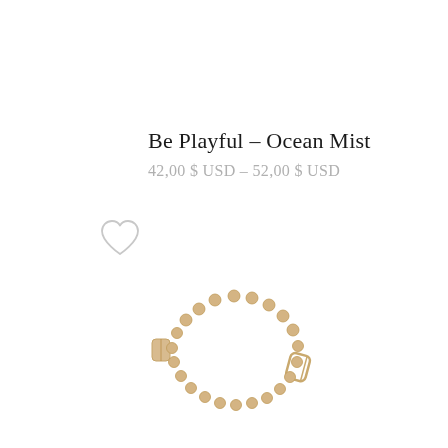Be Playful – Ocean Mist
42,00 $ USD – 52,00 $ USD
[Figure (photo): Gold beaded bracelet with a rectangular paperclip-style clasp, formed into a circular/oval shape, photographed on white background.]
[Figure (illustration): Heart outline icon (wishlist/favorite button), light gray color, positioned on the left side.]